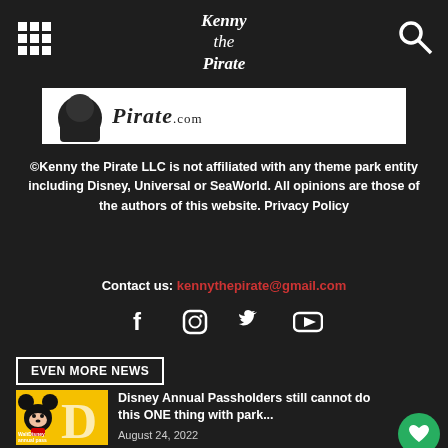Kenny the Pirate
[Figure (logo): Kenny the Pirate logo banner with pirate character and site name on white background]
©Kenny the Pirate LLC is not affiliated with any theme park entity including Disney, Universal or SeaWorld. All opinions are those of the authors of this website. Privacy Policy
Contact us: kennythepirate@gmail.com
[Figure (infographic): Social media icons: Facebook, Instagram, Twitter, YouTube]
EVEN MORE NEWS
[Figure (photo): Thumbnail image of Mickey Mouse on yellow Walt Disney annual pass background]
Disney Annual Passholders still cannot do this ONE thing with park...
August 24, 2022